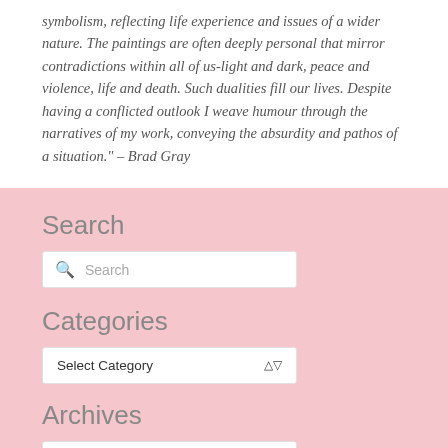symbolism, reflecting life experience and issues of a wider nature. The paintings are often deeply personal that mirror contradictions within all of us-light and dark, peace and violence, life and death. Such dualities fill our lives. Despite having a conflicted outlook I weave humour through the narratives of my work, conveying the absurdity and pathos of a situation." – Brad Gray
Search
[Figure (screenshot): Search input box with magnifying glass icon and placeholder text 'Search']
Categories
[Figure (screenshot): Dropdown select box with label 'Select Category' and up/down arrow]
Archives
[Figure (screenshot): Dropdown select box with label 'Select Month' and up/down arrow]